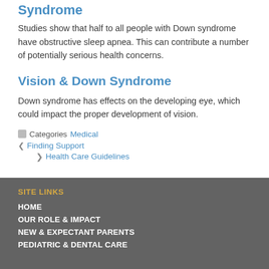Syndrome
Studies show that half to all people with Down syndrome have obstructive sleep apnea. This can contribute a number of potentially serious health concerns.
Vision & Down Syndrome
Down syndrome has effects on the developing eye, which could impact the proper development of vision.
Categories: Medical
← Finding Support
→ Health Care Guidelines
SITE LINKS
HOME
OUR ROLE & IMPACT
NEW & EXPECTANT PARENTS
PEDIATRIC & DENTAL CARE